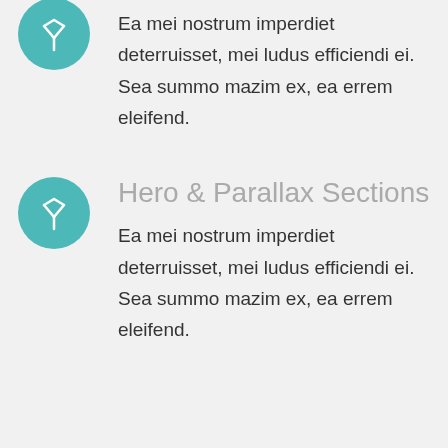[Figure (illustration): Teal circular icon with a white Y/fork-shaped symbol (Acrobat-like logo)]
Ea mei nostrum imperdiet deterruisset, mei ludus efficiendi ei. Sea summo mazim ex, ea errem eleifend.
[Figure (illustration): Teal circular icon with a white Y/fork-shaped symbol (Acrobat-like logo)]
Hero & Parallax Sections
Ea mei nostrum imperdiet deterruisset, mei ludus efficiendi ei. Sea summo mazim ex, ea errem eleifend.